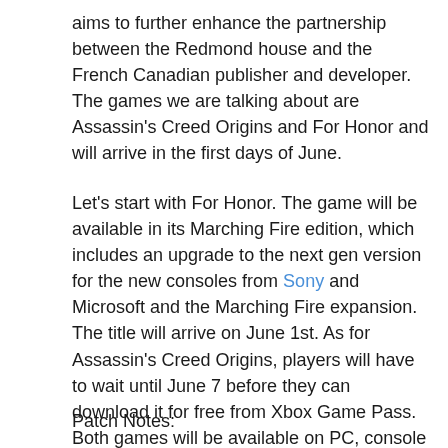aims to further enhance the partnership between the Redmond house and the French Canadian publisher and developer. The games we are talking about are Assassin's Creed Origins and For Honor and will arrive in the first days of June.
Let's start with For Honor. The game will be available in its Marching Fire edition, which includes an upgrade to the next gen version for the new consoles from Sony and Microsoft and the Marching Fire expansion. The title will arrive on June 1st. As for Assassin's Creed Origins, players will have to wait until June 7 before they can download it for free from Xbox Game Pass. Both games will be available on PC, console and of course will be co [Next Article] with the cloud. | ); } Assassin's Creed® O [Close X] te 1.60 Added To Database.
Patch Notes: